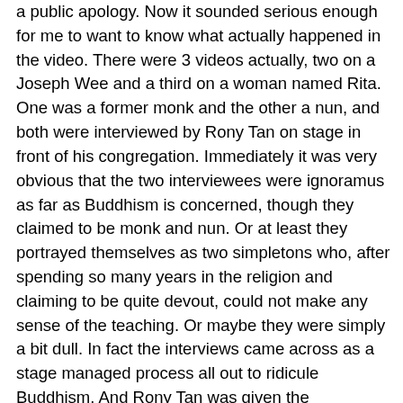a public apology. Now it sounded serious enough for me to want to know what actually happened in the video. There were 3 videos actually, two on a Joseph Wee and a third on a woman named Rita. One was a former monk and the other a nun, and both were interviewed by Rony Tan on stage in front of his congregation. Immediately it was very obvious that the two interviewees were ignoramus as far as Buddhism is concerned, though they claimed to be monk and nun. Or at least they portrayed themselves as two simpletons who, after spending so many years in the religion and claiming to be quite devout, could not make any sense of the teaching. Or maybe they were simply a bit dull. In fact the interviews came across as a stage managed process all out to ridicule Buddhism. And Rony Tan was given the opportunity to make comments like being under the influence of demons, blind leading the blind, and false religion. He came across as the wise man and the other two like fools. But then he commented that Joseph was good enough to become a pastor and doing very good work in converting children to his religion. Everyone had a good laugh at the two silly interviewees and Buddhism. The message that Rony Tan was making was that his was the only true religion